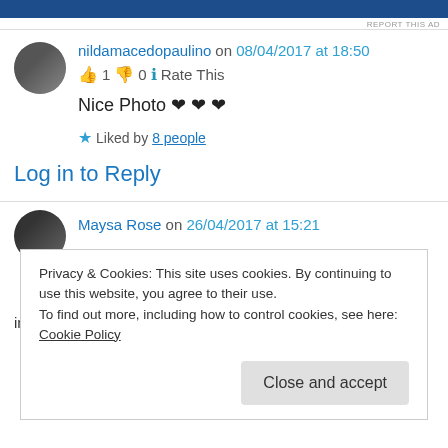[Figure (other): Blue advertisement banner at the top of the page]
REPORT THIS AD
nildamacedopaulino on 08/04/2017 at 18:50
👍 1 👎 0 ℹ Rate This
Nice Photo ❤ ❤ ❤
★ Liked by 8 people
Log in to Reply
Maysa Rose on 26/04/2017 at 15:21
Privacy & Cookies: This site uses cookies. By continuing to use this website, you agree to their use.
To find out more, including how to control cookies, see here: Cookie Policy
Close and accept
interested in participating.